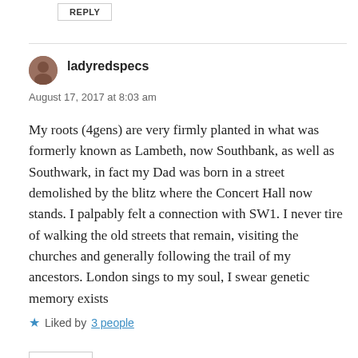REPLY
ladyredspecs
August 17, 2017 at 8:03 am
My roots (4gens) are very firmly planted in what was formerly known as Lambeth, now Southbank, as well as Southwark, in fact my Dad was born in a street demolished by the blitz where the Concert Hall now stands. I palpably felt a connection with SW1. I never tire of walking the old streets that remain, visiting the churches and generally following the trail of my ancestors. London sings to my soul, I swear genetic memory exists
Liked by 3 people
REPLY